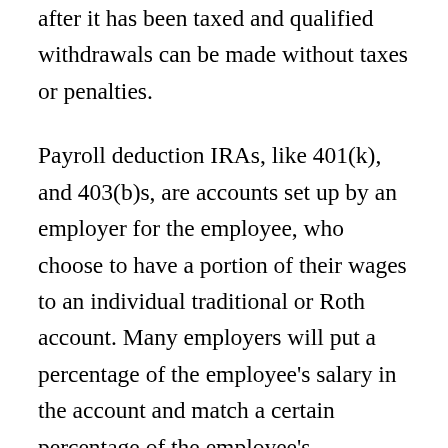after it has been taxed and qualified withdrawals can be made without taxes or penalties.
Payroll deduction IRAs, like 401(k), and 403(b)s, are accounts set up by an employer for the employee, who choose to have a portion of their wages to an individual traditional or Roth account. Many employers will put a percentage of the employee's salary in the account and match a certain percentage of the employee's contribution. Experts say this is one of the fastest ways to increase your nest egg because and employee's contributions are doubled by their employer's match and that